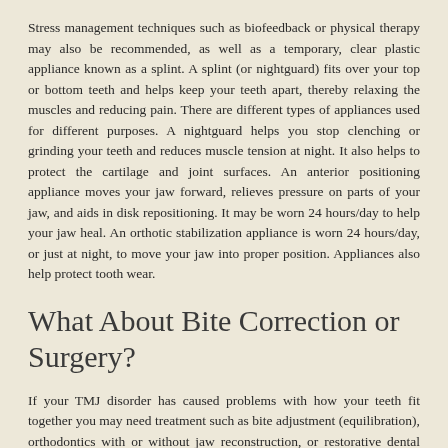Stress management techniques such as biofeedback or physical therapy may also be recommended, as well as a temporary, clear plastic appliance known as a splint. A splint (or nightguard) fits over your top or bottom teeth and helps keep your teeth apart, thereby relaxing the muscles and reducing pain. There are different types of appliances used for different purposes. A nightguard helps you stop clenching or grinding your teeth and reduces muscle tension at night. It also helps to protect the cartilage and joint surfaces. An anterior positioning appliance moves your jaw forward, relieves pressure on parts of your jaw, and aids in disk repositioning. It may be worn 24 hours/day to help your jaw heal. An orthotic stabilization appliance is worn 24 hours/day, or just at night, to move your jaw into proper position. Appliances also help protect tooth wear.
What About Bite Correction or Surgery?
If your TMJ disorder has caused problems with how your teeth fit together you may need treatment such as bite adjustment (equilibration), orthodontics with or without jaw reconstruction, or restorative dental work. Surgical options, such as arthroscopy and open joint repair restructuring, are sometimes needed, but are reserved for severe cases. Dr. Hitchan does not consider TMJ surgery